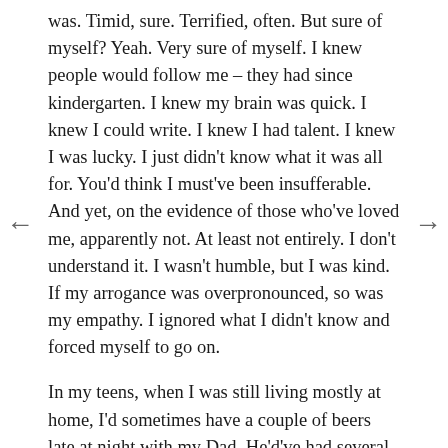was.  Timid, sure.  Terrified, often.  But sure of myself?  Yeah. Very sure of myself.  I knew people would follow me – they had since kindergarten.  I knew my brain was quick.  I knew I could write.  I knew I had talent.  I knew I was lucky.  I just didn't know what it was all for.  You'd think I must've been insufferable.  And yet, on the evidence of those who've loved me, apparently not.  At least not entirely.  I don't understand it.  I wasn't humble, but I was kind.  If my arrogance was overpronounced, so was my empathy.  I ignored what I didn't know and forced myself to go on.
In my teens, when I was still living mostly at home, I'd sometimes have a couple of beers late at night with my Dad.  He'd've had several by then and I was probably stoned, having been out with friends but getting the...